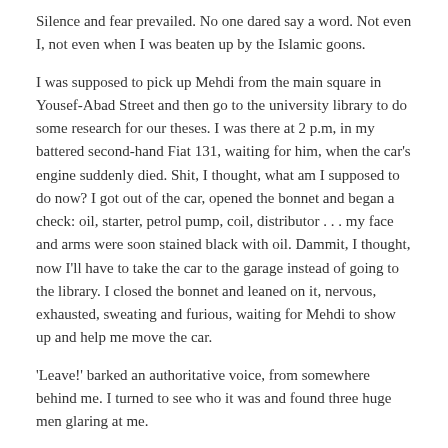Silence and fear prevailed. No one dared say a word. Not even I, not even when I was beaten up by the Islamic goons.
I was supposed to pick up Mehdi from the main square in Yousef-Abad Street and then go to the university library to do some research for our theses. I was there at 2 p.m, in my battered second-hand Fiat 131, waiting for him, when the car's engine suddenly died. Shit, I thought, what am I supposed to do now? I got out of the car, opened the bonnet and began a check: oil, starter, petrol pump, coil, distributor . . . my face and arms were soon stained black with oil. Dammit, I thought, now I'll have to take the car to the garage instead of going to the library. I closed the bonnet and leaned on it, nervous, exhausted, sweating and furious, waiting for Mehdi to show up and help me move the car.
'Leave!' barked an authoritative voice, from somewhere behind me. I turned to see who it was and found three huge men glaring at me.